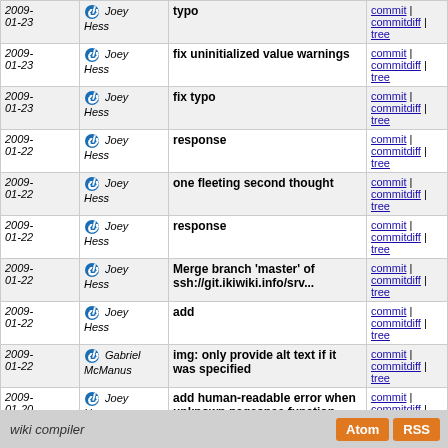| Date | Author | Message | Links |
| --- | --- | --- | --- |
| 2009-01-23 | Joey Hess | typo | commit | commitdiff | tree |
| 2009-01-23 | Joey Hess | fix uninitialized value warnings | commit | commitdiff | tree |
| 2009-01-23 | Joey Hess | fix typo | commit | commitdiff | tree |
| 2009-01-22 | Joey Hess | response | commit | commitdiff | tree |
| 2009-01-22 | Joey Hess | one fleeting second thought | commit | commitdiff | tree |
| 2009-01-22 | Joey Hess | response | commit | commitdiff | tree |
| 2009-01-22 | Joey Hess | Merge branch 'master' of ssh://git.ikiwiki.info/srv... | commit | commitdiff | tree |
| 2009-01-22 | Joey Hess | add | commit | commitdiff | tree |
| 2009-01-22 | Gabriel McManus | img: only provide alt text if it was specified | commit | commitdiff | tree |
| 2009-01-20 | Joey Hess | add human-readable error when unknown pagespec function... | commit | commitdiff | tree |
| 2009-01-20 | Joey Hess | cleanup | commit | commitdiff | tree |
next
wiki compiler  Atom RSS